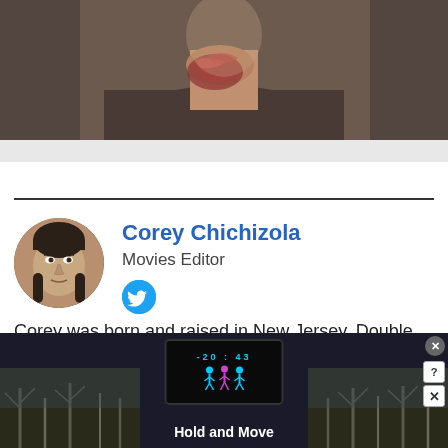[Figure (photo): Partial view of a person with horror makeup/wounds on neck and face, wearing a dark shirt. Screenshot from a movie or show.]
Corey Chichizola
Movies Editor
Corey was born and raised in New Jersey. Double majored in theater and literature during undergrad. After working in administrative
[Figure (screenshot): Advertisement overlay showing 'Hold and Move' app/game with figures on a dark screen, trees in background, close and help buttons.]